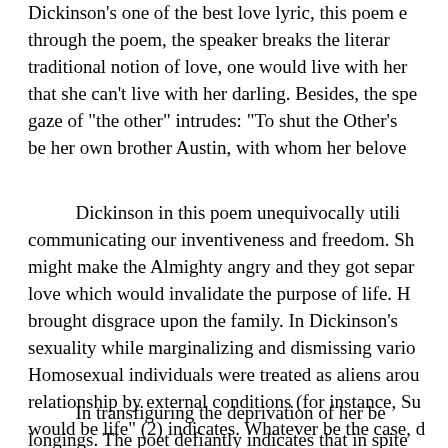Dickinson's one of the best love lyric, this poem e through the poem, the speaker breaks the literar traditional notion of love, one would live with her that she can't live with her darling. Besides, the spe gaze of "the other" intrudes: "To shut the Other's be her own brother Austin, with whom her belove
Dickinson in this poem unequivocally utili communicating our inventiveness and freedom. Sh might make the Almighty angry and they got separ love which would invalidate the purpose of life. H brought disgrace upon the family. In Dickinson's sexuality while marginalizing and dismissing vario Homosexual individuals were treated as aliens arou relationship by external conditions (for instance, Su would be life" (2) indicates. Whatever be the case, d
In transfiguring the deprivation of her be longings. The poet defiantly indicates that in spite